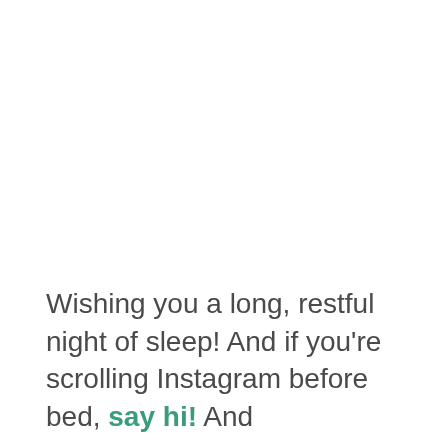Wishing you a long, restful night of sleep! And if you're scrolling Instagram before bed, say hi! And